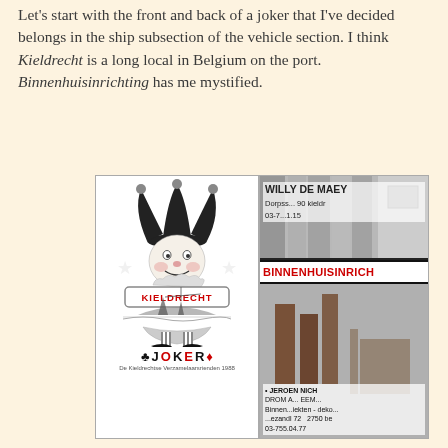Let's start with the front and back of a joker that I've decided belongs in the ship subsection of the vehicle section. I think Kieldrecht is a long local in Belgium on the port. Binnenhuisinrichting has me mystified.
[Figure (photo): Front and back of a joker playing card. Front (left): black and white illustration of a jester/joker figure holding a sign reading 'KIELDRECHT' in red letters, with a ship image in the middle and 'JOKER' text at bottom with card suit symbols; caption reads 'De Kieldrechtse Verzamelaarsrienden 1988'. Back (right): black and white photo card showing curtains/drapes, with text 'WILLY DE MAEY' at top, 'BINNENHUISINRICH' in red in middle, and 'JEROEN NICH' with 'DROM A... EEM...' and address details '03-755.04.77' at bottom.]